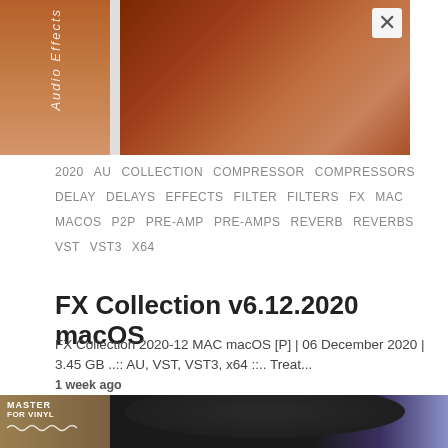[Figure (photo): Partial product image showing FX Collection audio software box art with brown/copper tones, partially cropped]
2020  AU  COLLECTION  COMPRESSOR  COMPRESSORS  DELAY  DELAYS  EFFECTS  FILTER  FILTERS  FX  MAC  MACOS  P2P  PRE-AMP  PRE-AMPS  REVERB  REVERBS  VST  VST3  X64
FX Collection v6.12.2020 macOS
FX Collection 2020-12 MAC macOS [P] | 06 December 2020 | 3.45 GB ..:: AU, VST, VST3, x64 ::.. Treat...
1 week ago
[Figure (photo): Partial bottom image showing vinyl record and book titled Master for Vinyl, partially cropped]